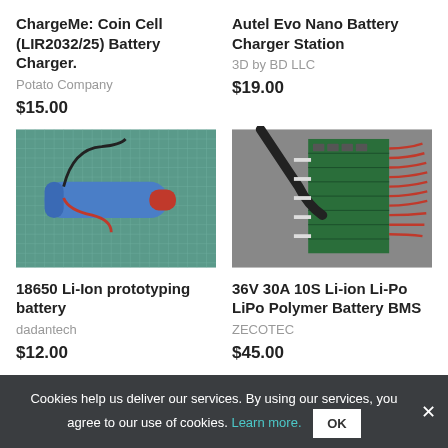ChargeMe: Coin Cell (LIR2032/25) Battery Charger.
Potato Company
$15.00
Autel Evo Nano Battery Charger Station
3D by BD LLC
$19.00
[Figure (photo): Blue and red 18650 Li-Ion battery with wires on a green cutting mat]
18650 Li-Ion prototyping battery
dadantech
$12.00
[Figure (photo): 36V 30A 10S Li-ion Li-Po battery BMS circuit board with red wires]
36V 30A 10S Li-ion Li-Po LiPo Polymer Battery BMS
ZECOTEC
$45.00
Cookies help us deliver our services. By using our services, you agree to our use of cookies. Learn more.